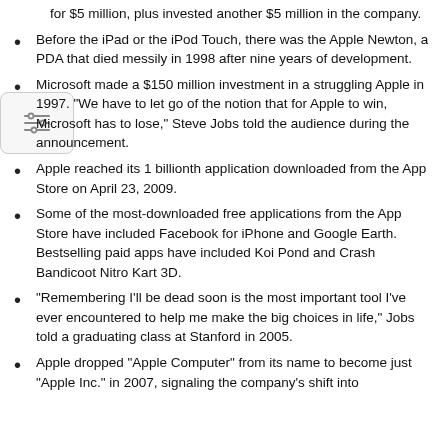for $5 million, plus invested another $5 million in the company.
Before the iPad or the iPod Touch, there was the Apple Newton, a PDA that died messily in 1998 after nine years of development.
Microsoft made a $150 million investment in a struggling Apple in 1997. “We have to let go of the notion that for Apple to win, Microsoft has to lose,” Steve Jobs told the audience during the announcement.
Apple reached its 1 billionth application downloaded from the App Store on April 23, 2009.
Some of the most-downloaded free applications from the App Store have included Facebook for iPhone and Google Earth. Bestselling paid apps have included Koi Pond and Crash Bandicoot Nitro Kart 3D.
“Remembering I’ll be dead soon is the most important tool I’ve ever encountered to help me make the big choices in life,” Jobs told a graduating class at Stanford in 2005.
Apple dropped “Apple Computer” from its name to become just “Apple Inc.” in 2007, signaling the company’s shift into